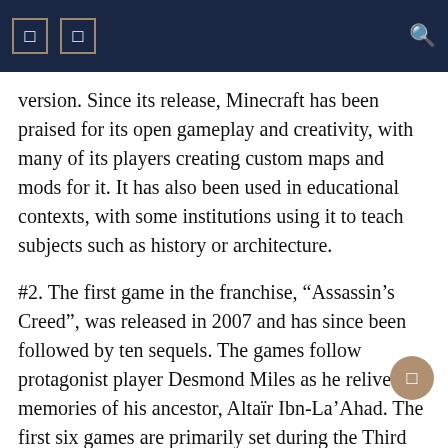version. Since its release, Minecraft has been praised for its open gameplay and creativity, with many of its players creating custom maps and mods for it. It has also been used in educational contexts, with some institutions using it to teach subjects such as history or architecture.
#2. The first game in the franchise, “Assassin’s Creed”, was released in 2007 and has since been followed by ten sequels. The games follow protagonist player Desmond Miles as he relives the memories of his ancestor, Altaïr Ibn-La’Ahad. The first six games are primarily set during the Third Crusade, although later games explore time periods such as feudal Japan and Renaissance Italy. In the “Assassin’s Creed” series, players take control of a member of a secret order of Assassins founded in 1096 to protect free will from those who would abuse it. Players use a variety of weapons to take